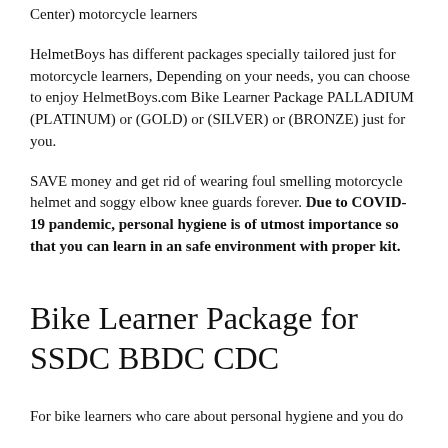Center) motorcycle learners
HelmetBoys has different packages specially tailored just for motorcycle learners, Depending on your needs, you can choose to enjoy HelmetBoys.com Bike Learner Package PALLADIUM (PLATINUM) or (GOLD) or (SILVER) or (BRONZE) just for you.
SAVE money and get rid of wearing foul smelling motorcycle helmet and soggy elbow knee guards forever. Due to COVID-19 pandemic, personal hygiene is of utmost importance so that you can learn in an safe environment with proper kit.
Bike Learner Package for SSDC BBDC CDC
For bike learners who care about personal hygiene and you do